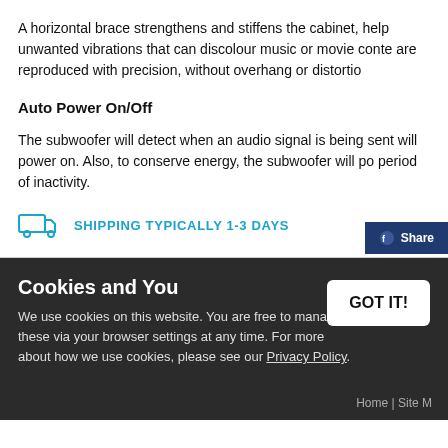A horizontal brace strengthens and stiffens the cabinet, help unwanted vibrations that can discolour music or movie conte are reproduced with precision, without overhang or distortio
Auto Power On/Off
The subwoofer will detect when an audio signal is being sent will power on. Also, to conserve energy, the subwoofer will po period of inactivity.
SHIPPING TYPICALLY 1-3 DAYS
Cookies and You
We use cookies on this website. You are free to manage these via your browser settings at any time. For more about how we use cookies, please see our Privacy Policy.
Home | Site M